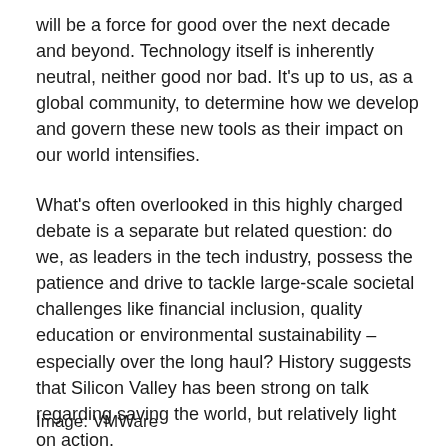will be a force for good over the next decade and beyond. Technology itself is inherently neutral, neither good nor bad. It's up to us, as a global community, to determine how we develop and govern these new tools as their impact on our world intensifies.
What's often overlooked in this highly charged debate is a separate but related question: do we, as leaders in the tech industry, possess the patience and drive to tackle large-scale societal challenges like financial inclusion, quality education or environmental sustainability – especially over the long haul? History suggests that Silicon Valley has been strong on talk regarding saving the world, but relatively light on action.
Image: VMWare